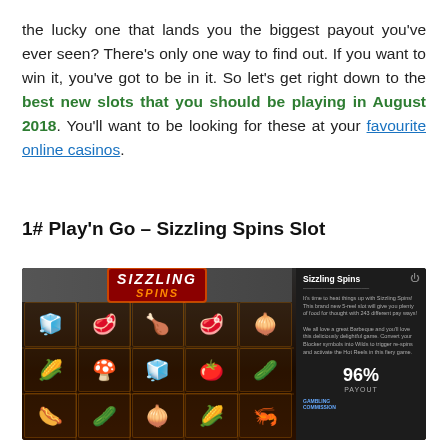the lucky one that lands you the biggest payout you've ever seen? There's only one way to find out. If you want to win it, you've got to be in it. So let's get right down to the best new slots that you should be playing in August 2018. You'll want to be looking for these at your favourite online casinos.
1# Play'n Go – Sizzling Spins Slot
[Figure (screenshot): Screenshot of the Sizzling Spins slot game by Play'n Go showing a 5-reel slot with food/BBQ themed symbols including vegetables and meat on a dark background. Right side shows game info panel with 96% PAYOUT stat and Gambling Commission logo.]